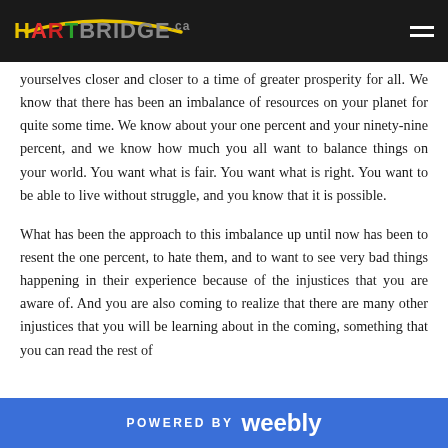HARTBRIDGE.ca
yourselves closer and closer to a time of greater prosperity for all. We know that there has been an imbalance of resources on your planet for quite some time. We know about your one percent and your ninety-nine percent, and we know how much you all want to balance things on your world. You want what is fair. You want what is right. You want to be able to live without struggle, and you know that it is possible.
What has been the approach to this imbalance up until now has been to resent the one percent, to hate them, and to want to see very bad things happening in their experience because of the injustices that you are aware of. And you are also coming to realize that there are many other injustices that you will be learning about in the coming...
POWERED BY weebly